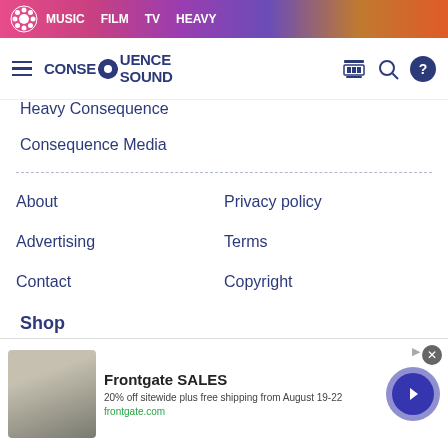MUSIC  FILM  TV  HEAVY
[Figure (logo): Consequence Sound logo with gear icon and navigation bar]
Heavy Consequence
Consequence Media
About
Privacy policy
Advertising
Terms
Contact
Copyright
Shop
Face Masks
T Shirts
[Figure (photo): Frontgate advertisement banner showing outdoor furniture with fire pit. Text: Frontgate SALES, 20% off sitewide plus free shipping from August 19-22, frontgate.com]